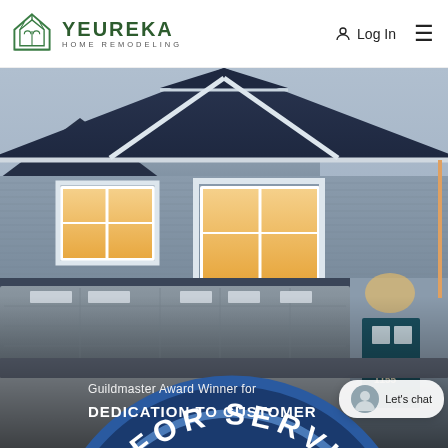[Figure (logo): Yeureka Home Remodeling logo with house icon in green outline style]
Log In
[Figure (photo): Exterior photo of a craftsman-style home at dusk with blue-gray siding, white trim, lit windows, two-car garage, and teal front door with house number 1155]
[Figure (logo): Guildmaster Award for Service Excellence circular badge/seal]
Guildmaster Award Winner for
DEDICATION TO CUSTOMER
Let's chat